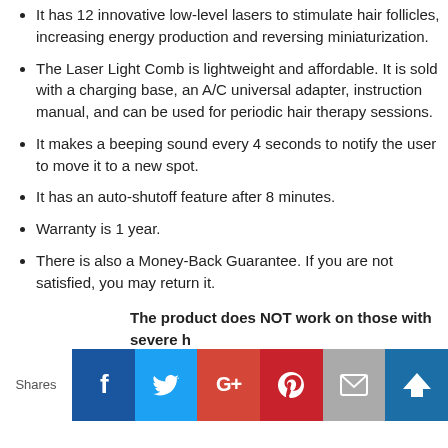It has 12 innovative low-level lasers to stimulate hair follicles, increasing energy production and reversing miniaturization.
The Laser Light Comb is lightweight and affordable. It is sold with a charging base, an A/C universal adapter, instruction manual, and can be used for periodic hair therapy sessions.
It makes a beeping sound every 4 seconds to notify the user to move it to a new spot.
It has an auto-shutoff feature after 8 minutes.
Warranty is 1 year.
There is also a Money-Back Guarantee. If you are not satisfied, you may return it.
The product does NOT work on those with severe hair loss where hair follicles. Its use is recommended for “modern”
What Do The Reviews Say?
[Figure (infographic): Social sharing bar with Shares label and buttons for Facebook, Twitter, Google+, Pinterest, Email, and an additional share button]